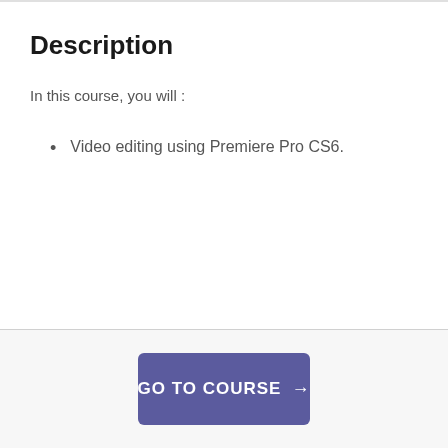Description
In this course, you will :
Video editing using Premiere Pro CS6.
GO TO COURSE →